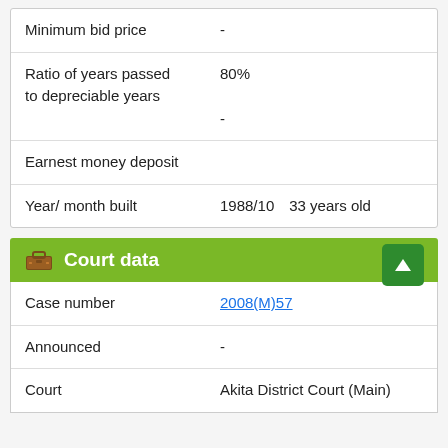| Field | Value |
| --- | --- |
| Minimum bid price | - |
| Ratio of years passed to depreciable years | 80%
- |
| Earnest money deposit |  |
| Year/ month built | 1988/10　33 years old　 |
Court data
| Field | Value |
| --- | --- |
| Case number | 2008(M)57 |
| Announced | - |
| Court | Akita District Court (Main) |